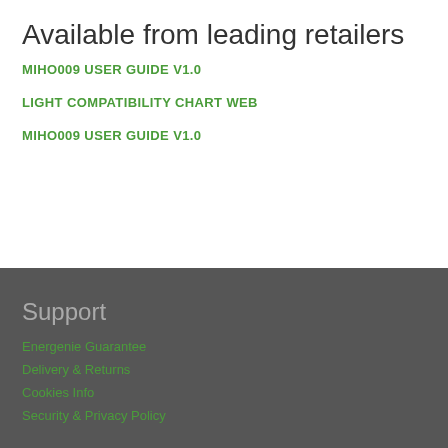Available from leading retailers
MIHO009 USER GUIDE V1.0
LIGHT COMPATIBILITY CHART WEB
MIHO009 USER GUIDE V1.0
Support
Energenie Guarantee
Delivery & Returns
Cookies Info
Security & Privacy Policy